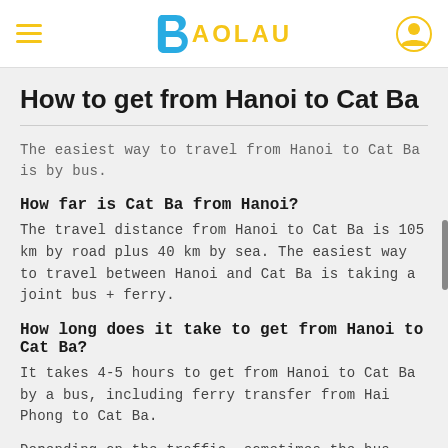BAOLAU
How to get from Hanoi to Cat Ba
The easiest way to travel from Hanoi to Cat Ba is by bus.
How far is Cat Ba from Hanoi?
The travel distance from Hanoi to Cat Ba is 105 km by road plus 40 km by sea. The easiest way to travel between Hanoi and Cat Ba is taking a joint bus + ferry.
How long does it take to get from Hanoi to Cat Ba?
It takes 4-5 hours to get from Hanoi to Cat Ba by a bus, including ferry transfer from Hai Phong to Cat Ba.
Depending on the traffic, sometimes the bus arrives 30 minutes earlier or later than scheduled.